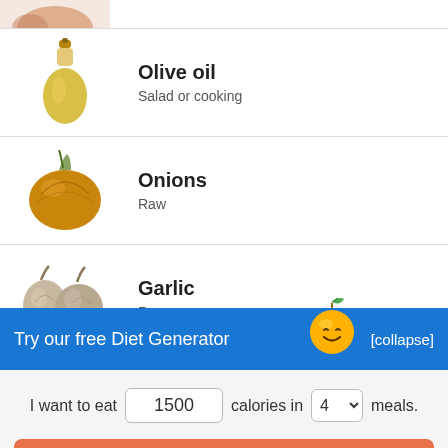[Figure (photo): Partially visible food item at top (cropped)]
Olive oil
Salad or cooking
Onions
Raw
Garlic
Raw
Chicken breast
Broilers or fryers, meat only, raw
Try our free Diet Generator
[collapse]
I want to eat 1500 calories in 4 meals.
Generate